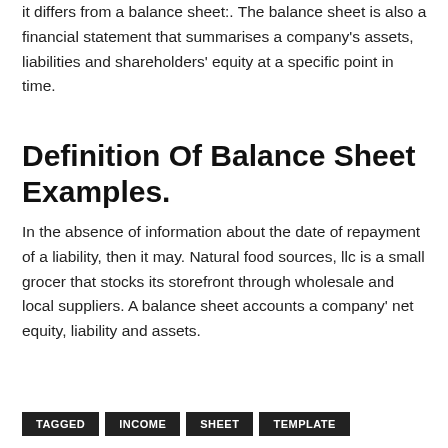it differs from a balance sheet:. The balance sheet is also a financial statement that summarises a company's assets, liabilities and shareholders' equity at a specific point in time.
Definition Of Balance Sheet Examples.
In the absence of information about the date of repayment of a liability, then it may. Natural food sources, llc is a small grocer that stocks its storefront through wholesale and local suppliers. A balance sheet accounts a company' net equity, liability and assets.
TAGGED   INCOME   SHEET   TEMPLATE